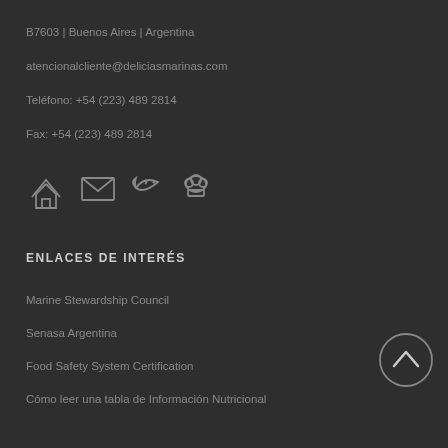B7603 | Buenos Aires | Argentina
atencionalcliente@deliciasmarinas.com
Teléfono: +54 (223) 489 2814
Fax: +54 (223) 489 2814
[Figure (illustration): Four icons in a row: home, envelope/email, fish/seafood, chef hat]
ENLACES DE INTERÉS
Marine Stewardship Council
Senasa Argentina
Food Safety System Certification
Cómo leer una tabla de Información Nutricional
[Figure (illustration): Circular scroll-to-top button with upward arrow]